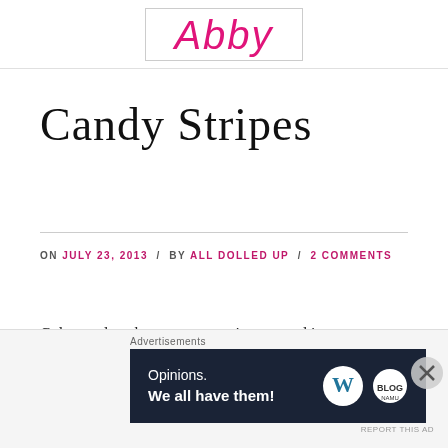[Figure (logo): Blog logo with cursive pink 'Abby' text inside a rectangular border]
Candy Stripes
ON JULY 23, 2013 / BY ALL DOLLED UP / 2 COMMENTS
Color tends to be a pretty consistent trend in my
[Figure (screenshot): Advertisement banner: 'Advertisements' label above a dark navy banner reading 'Opinions. We all have them!' with WordPress and another logo, with a close (X) button]